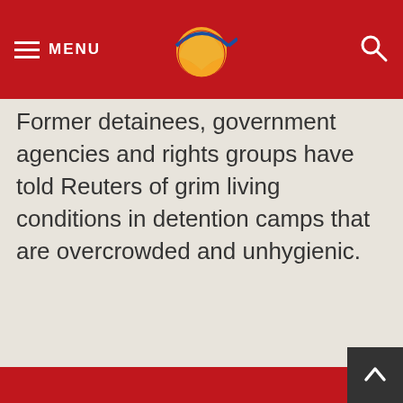MENU
Former detainees, government agencies and rights groups have told Reuters of grim living conditions in detention camps that are overcrowded and unhygienic.